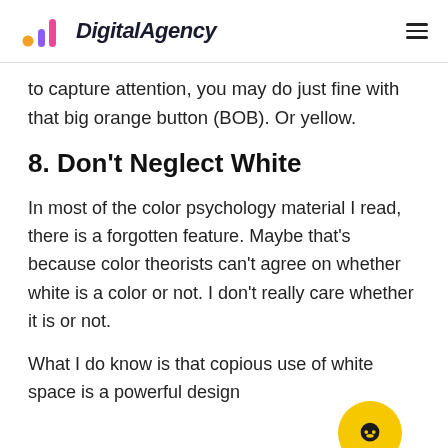DigitalAgency
to capture attention, you may do just fine with that big orange button (BOB). Or yellow.
8. Don’t Neglect White
In most of the color psychology material I read, there is a forgotten feature. Maybe that’s because color theorists can’t agree on whether white is a color or not. I don’t really care whether it is or not.
What I do know is that copious use of white space is a powerful design